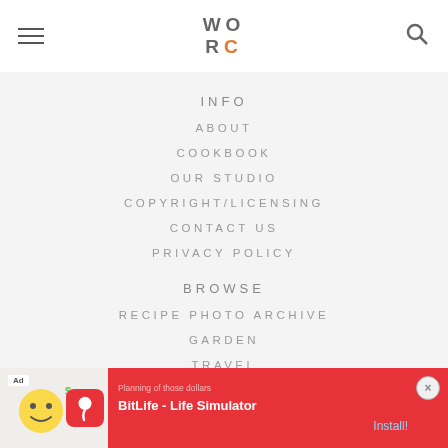WORC — site header with menu icon and search icon
INFO
ABOUT
COOKBOOK
OUR STUDIO
COPYRIGHT/LICENSING
CONTACT US
PRIVACY POLICY
BROWSE
RECIPE PHOTO ARCHIVE
GARDEN
TRAVEL
[Figure (screenshot): Ad banner for BitLife - Life Simulator app with red background, emoji icon, and Install! button]